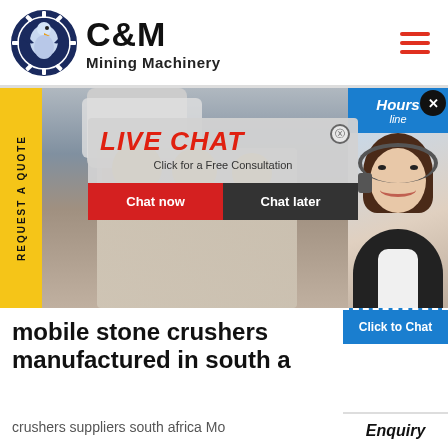[Figure (logo): C&M Mining Machinery logo with eagle/gear icon in navy blue, text 'C&M Mining Machinery']
[Figure (screenshot): Website screenshot showing mining machinery background with workers in yellow hard hats, a live chat popup overlay with 'LIVE CHAT - Click for a Free Consultation', Chat now and Chat later buttons, and a customer service agent photo on the right side]
mobile stone crushers manufactured in south a
crushers suppliers south africa Mo